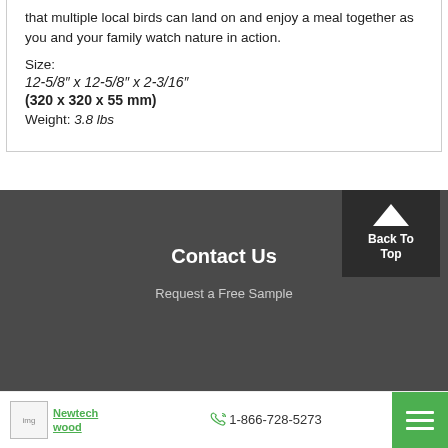that multiple local birds can land on and enjoy a meal together as you and your family watch nature in action.
Size:
12-5/8" x 12-5/8" x 2-3/16"
(320 x 320 x 55 mm)
Weight: 3.8 lbs
Contact Us
Request a Free Sample
Newtechwood | 1-866-728-5273